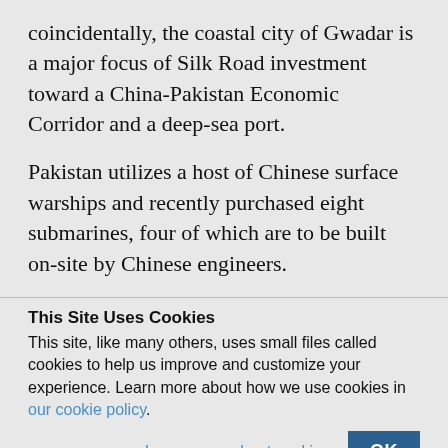coincidentally, the coastal city of Gwadar is a major focus of Silk Road investment toward a China-Pakistan Economic Corridor and a deep-sea port.
Pakistan utilizes a host of Chinese surface warships and recently purchased eight submarines, four of which are to be built on-site by Chinese engineers.
This Site Uses Cookies
This site, like many others, uses small files called cookies to help us improve and customize your experience. Learn more about how we use cookies in our cookie policy.
Learn more about cookies    OK